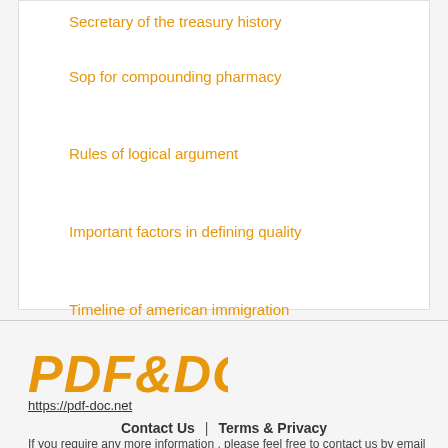Secretary of the treasury history
Sop for compounding pharmacy
Rules of logical argument
Important factors in defining quality
Timeline of american immigration
C string to c string
Formula to find displacement
Aristotle rules of logic
[Figure (logo): PDF&DOC logo in bold orange italic text]
https://pdf-doc.net
Contact Us | Terms & Privacy
If you require any more information , please feel free to contact us by email at